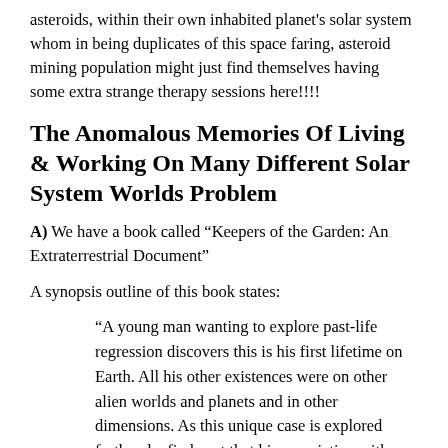asteroids, within their own inhabited planet's solar system whom in being duplicates of this space faring, asteroid mining population might just find themselves having some extra strange therapy sessions here!!!!
The Anomalous Memories Of Living & Working On Many Different Solar System Worlds Problem
A) We have a book called “Keepers of the Garden: An Extraterrestrial Document”
A synopsis outline of this book states:
“A young man wanting to explore past-life regression discovers this is his first lifetime on Earth. All his other existences were on other alien worlds and planets and in other dimensions. As this unique case is explored further, he finds out that his association with extraterrestrials did not cease with these other lives. The interaction with UFOs and aliens has continued during all his present life